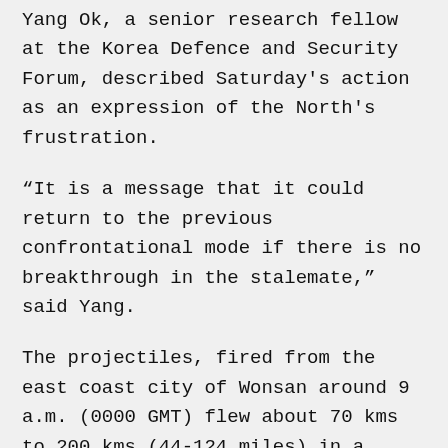Yang Ok, a senior research fellow at the Korea Defence and Security Forum, described Saturday's action as an expression of the North's frustration.
“It is a message that it could return to the previous confrontational mode if there is no breakthrough in the stalemate,” said Yang.
The projectiles, fired from the east coast city of Wonsan around 9 a.m. (0000 GMT) flew about 70 kms to 200 kms (44-124 miles) in a north-easterly direction, South Korea’s Office of the Joint Chiefs of Staff said in a statement.
The South Korean military said it was conducting joint analysis with the United States of the latest launches.